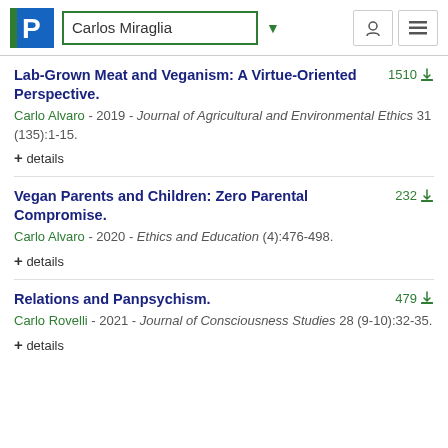Carlos Miraglia
Lab-Grown Meat and Veganism: A Virtue-Oriented Perspective.
Carlo Alvaro - 2019 - Journal of Agricultural and Environmental Ethics 31 (135):1-15.
+ details
Vegan Parents and Children: Zero Parental Compromise.
Carlo Alvaro - 2020 - Ethics and Education (4):476-498.
+ details
Relations and Panpsychism.
Carlo Rovelli - 2021 - Journal of Consciousness Studies 28 (9-10):32-35.
+ details